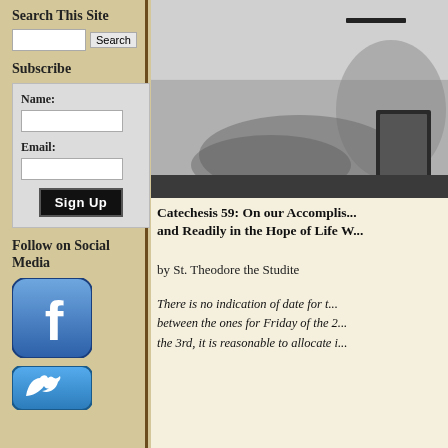Search This Site
[Search input and Search button]
Subscribe
Name: [text input] Email: [text input] Sign Up
Follow on Social Media
[Figure (illustration): Facebook logo button - blue rounded square with white 'f']
[Figure (illustration): Twitter logo button - blue rounded square with white bird]
[Figure (photo): Black and white photograph of an interior room with damaged walls and a rectangular frame or board leaning against the wall]
Catechesis 59: On our Accomplish... and Readily in the Hope of Life W...
by St. Theodore the Studite
There is no indication of date for t... between the ones for Friday of the 2... the 3rd, it is reasonable to allocate i...